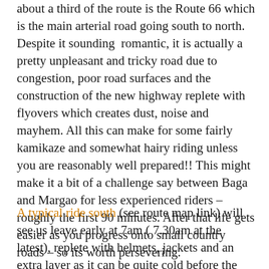about a third of the route is the Route 66 which is the main arterial road going south to north. Despite it sounding romantic, it is actually a pretty unpleasant and tricky road due to congestion, poor road surfaces and the construction of the new highway replete with flyovers which creates dust, noise and mayhem. All this can make for some fairly kamikaze and somewhat hairy riding unless you are reasonably well prepared!! This might make it a bit of a challenge say between Baga and Margao for less experienced riders – roughly the first 90 minutes. After that life gets easier as you progress onto small country roads – so its worth persevering.
A typical ride south (see route map link) will see us leave early at 7am ( 7.30am at the latest), replete with helmets, jackets and an extra layer as it can be quite cold before the sun comes up outside in the low lying